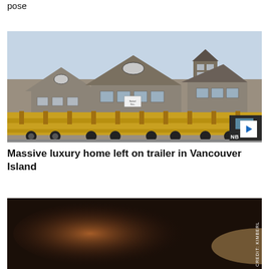pose
[Figure (photo): Large luxury home being transported on a flatbed trailer/heavy hauler equipment, multiple trailers visible, yellow heavy transport equipment, outdoors daylight]
Massive luxury home left on trailer in Vancouver Island
[Figure (photo): Dark/dimly lit interior or exterior photo, with vertical credit text reading CREDIT: KIMBERI]